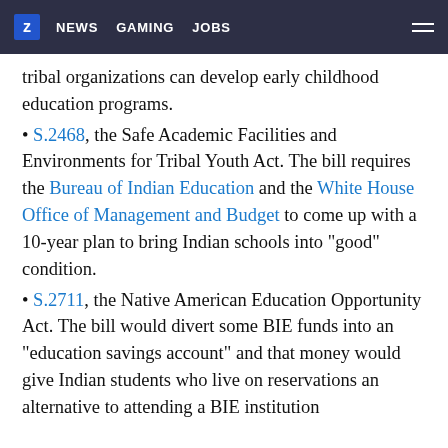Z NEWS GAMING JOBS
tribal organizations can develop early childhood education programs.
S.2468, the Safe Academic Facilities and Environments for Tribal Youth Act. The bill requires the Bureau of Indian Education and the White House Office of Management and Budget to come up with a 10-year plan to bring Indian schools into "good" condition.
S.2711, the Native American Education Opportunity Act. The bill would divert some BIE funds into an "education savings account" and that money would give Indian students who live on reservations an alternative to attending a BIE institution